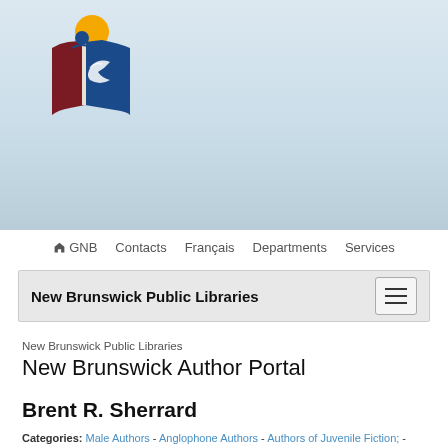[Figure (logo): New Brunswick Public Libraries logo: a stylized open book in blue and dark red with a person figure and yellow sun circle above, with a bird/wave motif]
GNB   Contacts   Français   Departments   Services
New Brunswick Public Libraries
New Brunswick Public Libraries
New Brunswick Author Portal
Brent R. Sherrard
Categories: Male Authors - Anglophone Authors - Authors of Juvenile Fiction; - Authors of Young Adult Literature - Miramichi River
Biography
Brent Sherrard was born in Miramichi, N.B., and has spent the majority